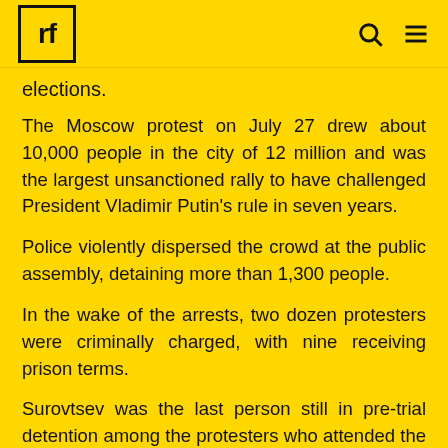rf
elections.
The Moscow protest on July 27 drew about 10,000 people in the city of 12 million and was the largest unsanctioned rally to have challenged President Vladimir Putin's rule in seven years.
Police violently dispersed the crowd at the public assembly, detaining more than 1,300 people.
In the wake of the arrests, two dozen protesters were criminally charged, with nine receiving prison terms.
Surovtsev was the last person still in pre-trial detention among the protesters who attended the July 27 rally.